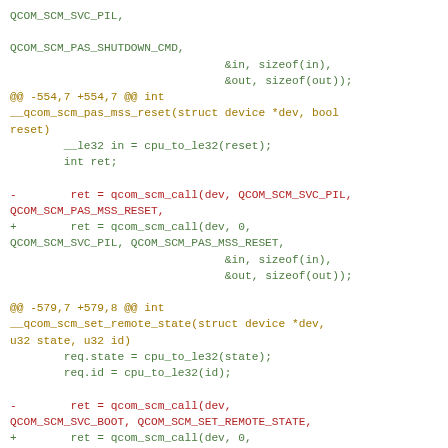Code diff showing changes to qcom_scm_pas_mss_reset and qcom_scm_set_remote_state functions, adding a 0 argument to qcom_scm_call calls.